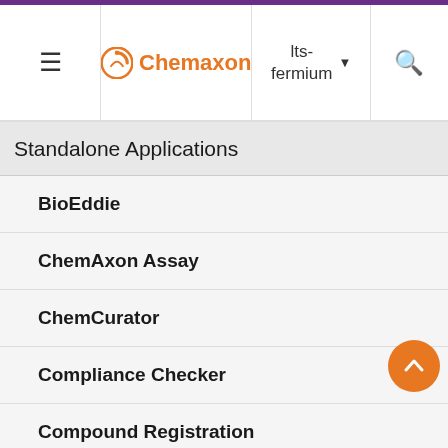Chemaxon — lts-fermium
Standalone Applications
BioEddie
ChemAxon Assay
ChemCurator
Compliance Checker
Compound Registration
Instant JChem
Markush Editor
Design Hub
JChem here. The new table will contain the following columns the compound identif…